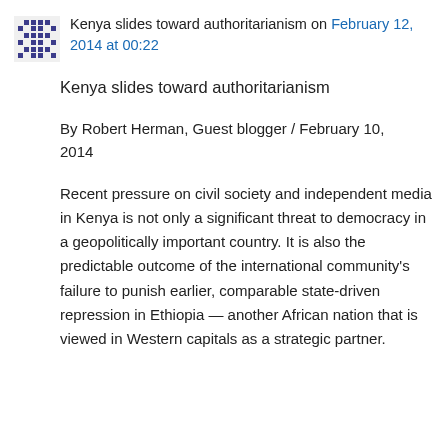Kenya slides toward authoritarianism on February 12, 2014 at 00:22
Kenya slides toward authoritarianism
By Robert Herman, Guest blogger / February 10, 2014
Recent pressure on civil society and independent media in Kenya is not only a significant threat to democracy in a geopolitically important country. It is also the predictable outcome of the international community's failure to punish earlier, comparable state-driven repression in Ethiopia — another African nation that is viewed in Western capitals as a strategic partner.